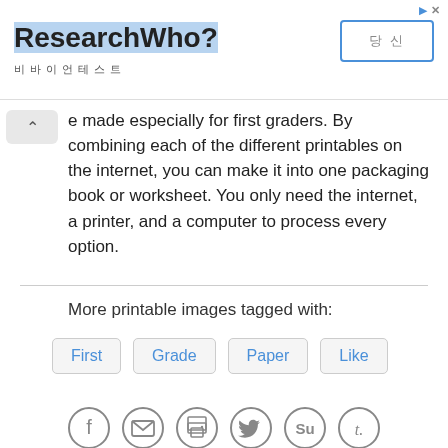[Figure (screenshot): Advertisement banner for ResearchWho? with a blue highlighted title, subtitle text in Korean characters, a button with Korean text, and navigation icons (forward arrow and X).]
e made especially for first graders. By combining each of the different printables on the internet, you can make it into one packaging book or worksheet. You only need the internet, a printer, and a computer to process every option.
More printable images tagged with:
First
Grade
Paper
Like
[Figure (illustration): Row of six social sharing icon circles: Facebook, Email, Print, Twitter, StumbleUpon, Tumblr]